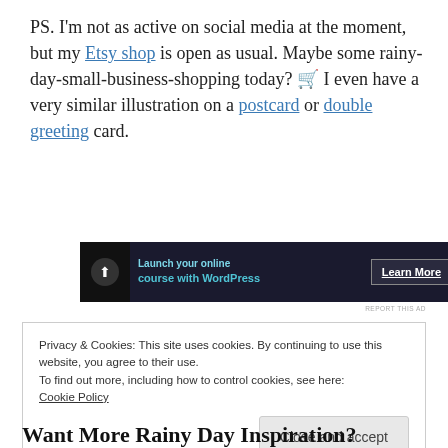PS. I'm not as active on social media at the moment, but my Etsy shop is open as usual. Maybe some rainy-day-small-business-shopping today? 🛒 I even have a very similar illustration on a postcard or double greeting card.
[Figure (screenshot): Advertisement banner for launching an online course with WordPress, showing 'Learn More' button on dark background.]
REPORT THIS AD
Privacy & Cookies: This site uses cookies. By continuing to use this website, you agree to their use.
To find out more, including how to control cookies, see here: Cookie Policy
Close and accept
Want More Rainy Day Inspiration?